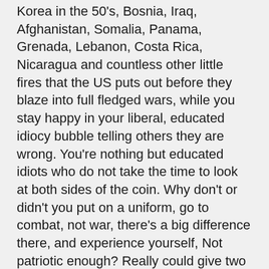Korea in the 50's, Bosnia, Iraq, Afghanistan, Somalia, Panama, Grenada, Lebanon, Costa Rica, Nicaragua and countless other little fires that the US puts out before they blaze into full fledged wars, while you stay happy in your liberal, educated idiocy bubble telling others they are wrong. You're nothing but educated idiots who do not take the time to look at both sides of the coin. Why don't or didn't you put on a uniform, go to combat, not war, there's a big difference there, and experience yourself, Not patriotic enough? Really could give two shits about people of other nations? Can't stand the thought of getting wounded, maimed, or killed for